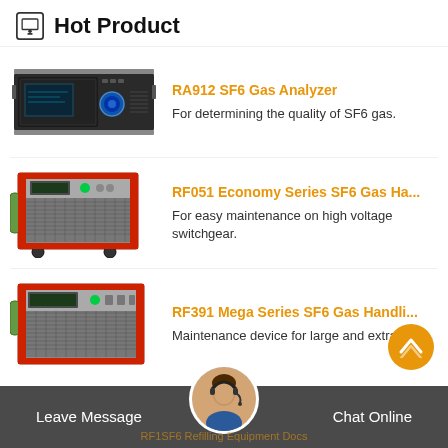Hot Product
[Figure (photo): RA912 SF6 Gas Analyzer device photo - a rackmount electronic analyzer instrument]
RA912 SF6 Gas Analyzer
For determining the quality of SF6 gas.
[Figure (photo): RF051 Economy Series SF6 Gas Handling device - large red-framed industrial machine on wheels]
RF051 Economy Series SF6 Gas Ha...
For easy maintenance on high voltage switchgear.
[Figure (photo): RF391 Mega Series SF6 Gas Handling device - large red-framed industrial cabinet]
RF391 Mega Series SF6 Gas Handli...
Maintenance device for large and extra larg...
Leave Message  Chat Online